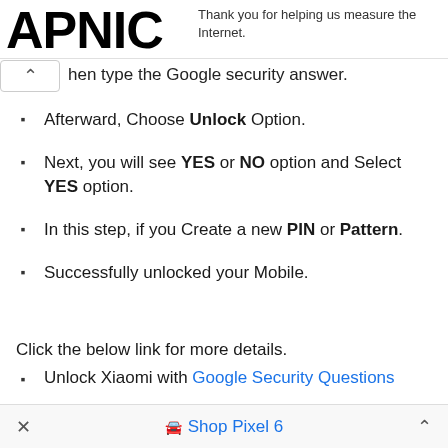[Figure (logo): APNIC logo in large bold black text]
Thank you for helping us measure the Internet.
hen type the Google security answer.
Afterward, Choose Unlock Option.
Next, you will see YES or NO option and Select YES option.
In this step, if you Create a new PIN or Pattern.
Successfully unlocked your Mobile.
Click the below link for more details.
Unlock Xiaomi with Google Security Questions
× Shop Pixel 6 ^